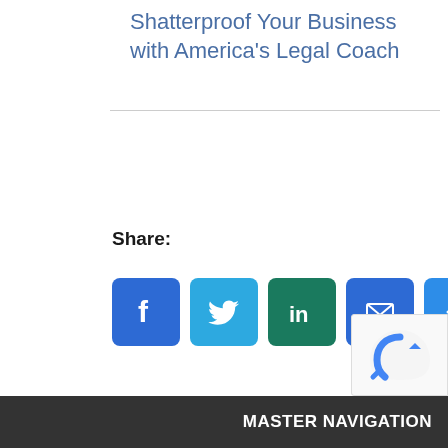Shatterproof Your Business with America’s Legal Coach
Share:
[Figure (infographic): Row of five social share buttons: Facebook (blue, f icon), Twitter (light blue, bird icon), LinkedIn (teal, in icon), Email (blue, envelope icon), More (blue, plus icon)]
MASTER NAVIGATION